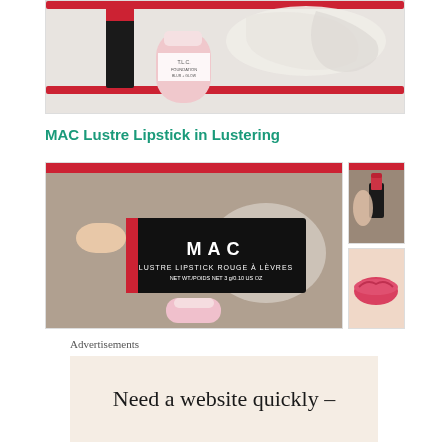[Figure (photo): Photo of cosmetics in a red gift box with tissue paper packaging, including a pink bottle and a black MAC product]
MAC Lustre Lipstick in Lustering
[Figure (photo): Hand holding a MAC Lustre Lipstick box (LUSTRE LIPSTICK ROUGE À LÈVRES, NET WT./POIDS NET 3g/0.10 US OZ) inside a red gift box]
[Figure (photo): Close-up of MAC lipstick bullet/cap]
[Figure (photo): Lip swatch of MAC Lustre Lipstick in Lustering showing pink-red color on lips]
Advertisements
[Figure (infographic): Advertisement banner with text: Need a website quickly –]